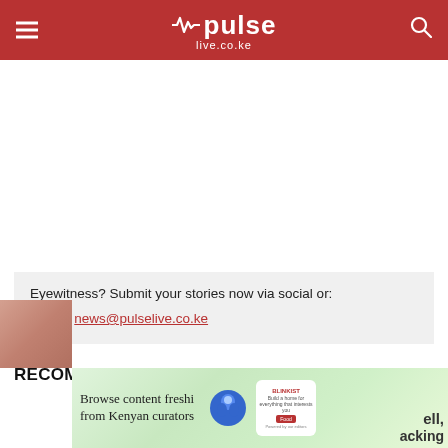pulse live.co.ke
Eyewitness? Submit your stories now via social or:
Email: news@pulselive.co.ke
RECOMMENDED ARTICLES
[Figure (screenshot): Advertisement banner: Browse content freshi from Kenyan curators, with a blue cartoon character and a phone screenshot]
ell, acking